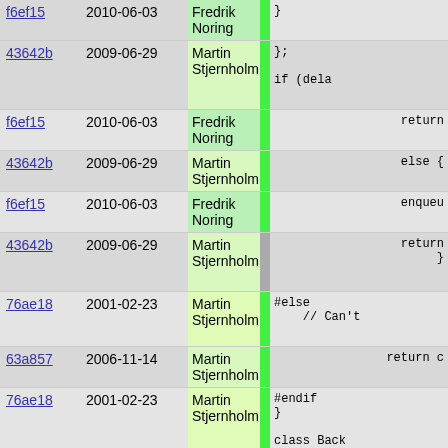| hash | date | author | bar | code |
| --- | --- | --- | --- | --- |
| f6ef15 | 2010-06-03 | Fredrik Noring |  | } |
| 43642b | 2009-06-29 | Martin Stjernholm |  | };

if (dela |
| f6ef15 | 2010-06-03 | Fredrik Noring |  | return |
| 43642b | 2009-06-29 | Martin Stjernholm |  | else { |
| f6ef15 | 2010-06-03 | Fredrik Noring |  | enqueu |
| 43642b | 2009-06-29 | Martin Stjernholm |  | return
} |
| 76ae18 | 2001-02-23 | Martin Stjernholm |  | #else
// Can't |
| 63a857 | 2006-11-14 | Martin Stjernholm |  | return c |
| 76ae18 | 2001-02-23 | Martin Stjernholm |  | #endif
}

class Back
//! A clas
//! makes
//! @[back |
| 5ee4b7 | 2004-05-25 | Martin Stjernholm |  | //! |
| 0a558e | 2004-10-19 | Martin Stjernholm |  | //! The us
//! itself |
| 76ae18 | 2001-02-23 | Martin Stjernholm |  | { |